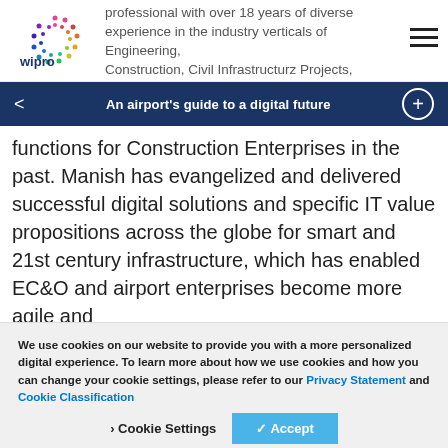Wipro logo and navigation header
professional with over 18 years of diverse experience in the industry verticals of Engineering, Construction, Civil Infrastructurz Projects, Real...
An airport's guide to a digital future
functions for Construction Enterprises in the past. Manish has evangelized and delivered successful digital solutions and specific IT value propositions across the globe for smart and 21st century infrastructure, which has enabled EC&O and airport enterprises become more agile and
We use cookies on our website to provide you with a more personalized digital experience. To learn more about how we use cookies and how you can change your cookie settings, please refer to our Privacy Statement and Cookie Classification
Cookie Settings   ✓ Accept